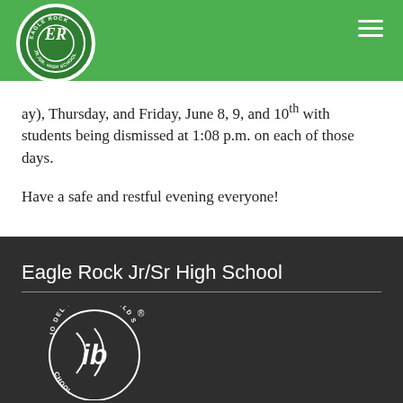[Figure (logo): Eagle Rock Jr/Sr High School circular logo with ER initials on green background]
ay), Thursday, and Friday, June 8, 9, and 10th with students being dismissed at 1:08 p.m. on each of those days.

Have a safe and restful evening everyone!
Eagle Rock Jr/Sr High School
[Figure (logo): IB World School circular logo with 'Mundo del Mundo · World School' text and IB initials]